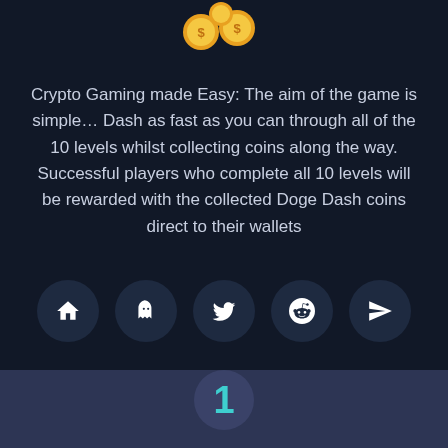[Figure (illustration): Golden coin illustration at top of page]
Crypto Gaming made Easy: The aim of the game is simple… Dash as fast as you can through all of the 10 levels whilst collecting coins along the way. Successful players who complete all 10 levels will be rewarded with the collected Doge Dash coins direct to their wallets
[Figure (infographic): Row of five social/navigation icon circles: home, ghost/OpenSea, Twitter bird, Reddit alien, Telegram paper plane]
1